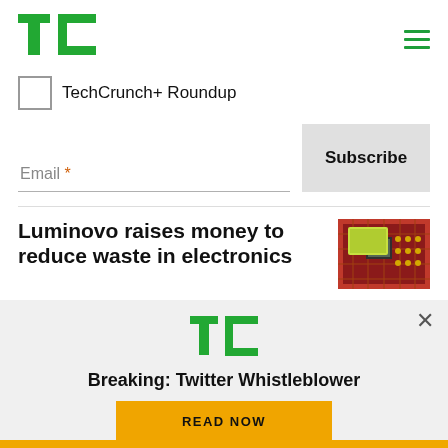[Figure (logo): TechCrunch logo - green TC letters]
[Figure (other): Hamburger menu icon with three green horizontal lines]
TechCrunch+ Roundup
Email *
Subscribe
Luminovo raises money to reduce waste in electronics
[Figure (photo): Circuit board / electronics hardware thumbnail image in red/green tones]
[Figure (logo): TechCrunch TC logo in green on light gray background]
Breaking: Twitter Whistleblower
READ NOW